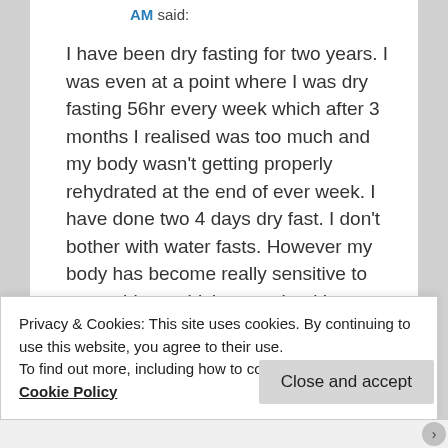AM said:
I have been dry fasting for two years. I was even at a point where I was dry fasting 56hr every week which after 3 months I realised was too much and my body wasn't getting properly rehydrated at the end of ever week. I have done two 4 days dry fast. I don't bother with water fasts. However my body has become really sensitive to many things which are unhealthy, which I know is a good thing as I have a total clean diet with no junk food
Privacy & Cookies: This site uses cookies. By continuing to use this website, you agree to their use.
To find out more, including how to control cookies, see here: Cookie Policy
Close and accept